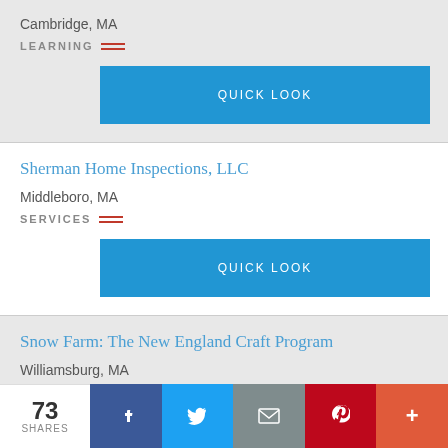Cambridge, MA
LEARNING
QUICK LOOK
Sherman Home Inspections, LLC
Middleboro, MA
SERVICES
QUICK LOOK
Snow Farm: The New England Craft Program
Williamsburg, MA
73 SHARES